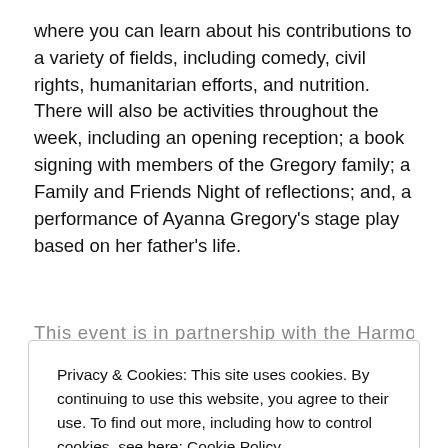where you can learn about his contributions to a variety of fields, including comedy, civil rights, humanitarian efforts, and nutrition. There will also be activities throughout the week, including an opening reception; a book signing with members of the Gregory family; a Family and Friends Night of reflections; and, a performance of Ayanna Gregory's stage play based on her father's life.
This event is in partnership with the Harmon Hall...
Privacy & Cookies: This site uses cookies. By continuing to use this website, you agree to their use. To find out more, including how to control cookies, see here: Cookie Policy
Close and accept